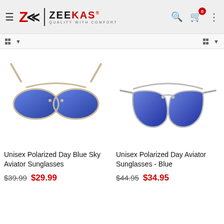ZEEKAS - QUALITY WITH COMFORT
[Figure (photo): Unisex Polarized Day Blue Sky Aviator Sunglasses - top-down view with gold frame and blue mirrored lenses]
Unisex Polarized Day Blue Sky Aviator Sunglasses
$39.99  $29.99
[Figure (photo): Unisex Polarized Day Aviator Sunglasses - Blue, front view with silver frame and blue gradient lenses]
Unisex Polarized Day Aviator Sunglasses - Blue
$44.95  $34.95